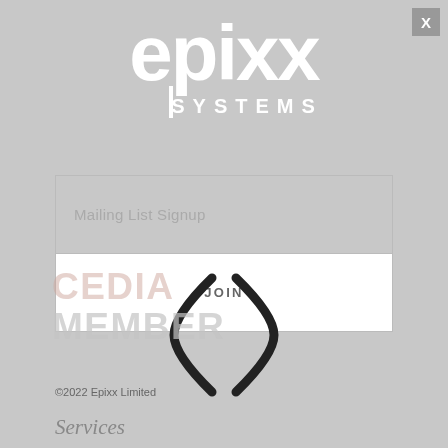[Figure (logo): Epixx Systems logo — large white stylized 'epixx' lettering above 'SYSTEMS' in spaced capitals, on grey background]
Mailing List Signup
JOIN
[Figure (other): Loading spinner shown as large bold curved parentheses ( ) around the JOIN button area]
CEDIA MEMBER
©2022 Epixx Limited
Services